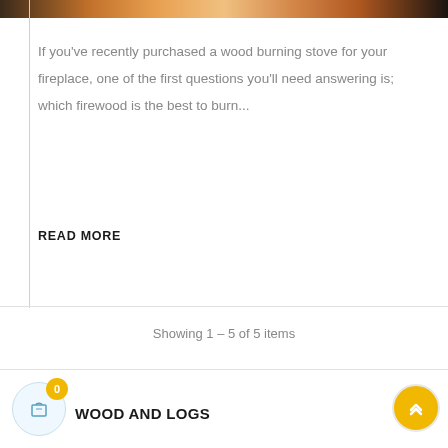[Figure (photo): Partial top image showing firewood or a wood burning stove scene, dark brown tones]
If you've recently purchased a wood burning stove for your fireplace, one of the first questions you'll need answering is; which firewood is the best to burn...
READ MORE
Showing 1 – 5 of 5 items
WOOD AND LOGS